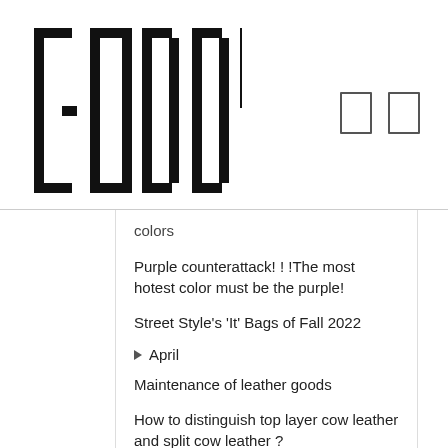GODDY
colors
Purple counterattack! ! !The most hotest color must be the purple!
Street Style's 'It' Bags of Fall 2022
April
Maintenance of leather goods
How to distinguish top layer cow leather and split cow leather ?
Notre Dame Fire Accident in Paris on 15th,Apr
Saddle Bag
Seasonal hot bags and some versatile items are popular
The secret to successful product category launches